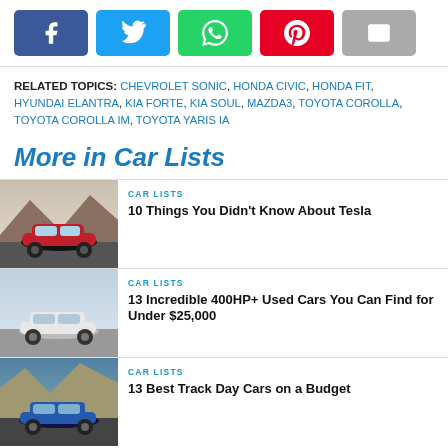[Figure (other): Social sharing buttons: Facebook, Twitter, WhatsApp, Pinterest, Email]
RELATED TOPICS: CHEVROLET SONIC, HONDA CIVIC, HONDA FIT, HYUNDAI ELANTRA, KIA FORTE, KIA SOUL, MAZDA3, TOYOTA COROLLA, TOYOTA COROLLA IM, TOYOTA YARIS IA
More in Car Lists
[Figure (photo): Red Tesla Model S driving on a road]
CAR LISTS
10 Things You Didn't Know About Tesla
[Figure (photo): White muscle car on a road]
CAR LISTS
13 Incredible 400HP+ Used Cars You Can Find for Under $25,000
[Figure (photo): Blue sports car on a mountain road]
CAR LISTS
13 Best Track Day Cars on a Budget